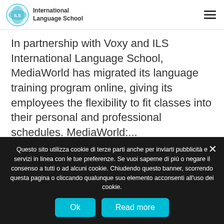ILS International Language School
In partnership with Voxy and ILS International Language School, MediaWorld has migrated its language training program online, giving its employees the flexibility to fit classes into their personal and professional schedules. MediaWorld:...
READ MORE
Questo sito utilizza cookie di terze parti anche per inviarti pubblicità e servizi in linea con le tue preferenze. Se vuoi saperne di più o negare il consenso a tutti o ad alcuni cookie. Chiudendo questo banner, scorrendo questa pagina o cliccando qualunque suo elemento acconsenti all'uso dei cookie.
Ok
Read more